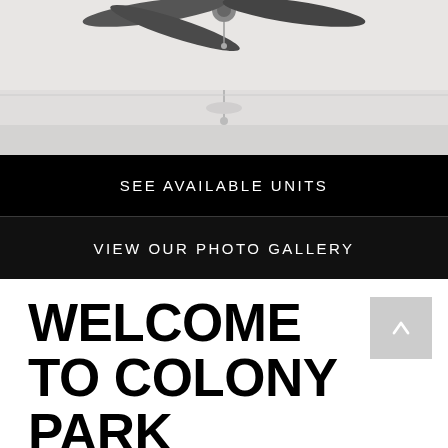[Figure (photo): Interior ceiling photo showing a ceiling fan with dark blades against a white ceiling, with a partial view of another light fixture below.]
SEE AVAILABLE UNITS
VIEW OUR PHOTO GALLERY
WELCOME TO COLONY PARK
A country club lifestyle in a tranquil park-like setting filled with things you love. Colony Park Luxury Apartments offers